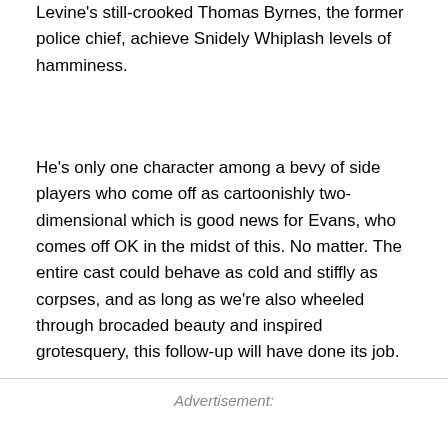Levine's still-crooked Thomas Byrnes, the former police chief, achieve Snidely Whiplash levels of hamminess.
He's only one character among a bevy of side players who come off as cartoonishly two-dimensional which is good news for Evans, who comes off OK in the midst of this. No matter. The entire cast could behave as cold and stiffly as corpses, and as long as we're also wheeled through brocaded beauty and inspired grotesquery, this follow-up will have done its job.
Advertisement: